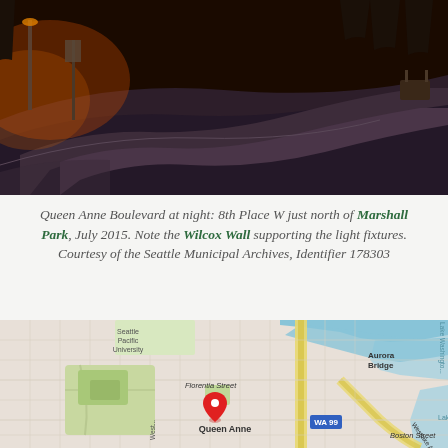[Figure (photo): Night photograph of Queen Anne Boulevard, showing a curved road with warm orange street lighting, trees, and a path at 8th Place W just north of Marshall Park, Seattle, July 2015.]
Queen Anne Boulevard at night: 8th Place W just north of Marshall Park, July 2015. Note the Wilcox Wall supporting the light fixtures. Courtesy of the Seattle Municipal Archives, Identifier 178303
[Figure (map): Street map of Queen Anne neighborhood in Seattle, showing Seattle Pacific University, Aurora Bridge, Florentia Street, Boston Street, WA 99 highway, Lake Washington Ship Canal, Lake Union, and a red location pin marker over the Queen Anne area.]